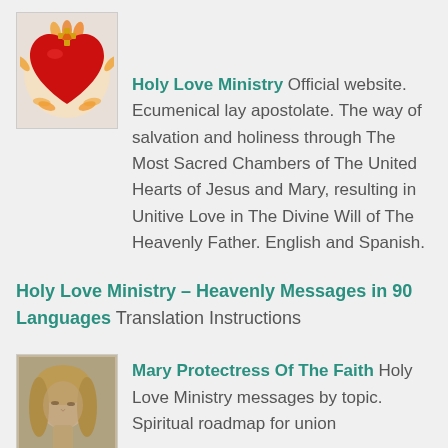[Figure (illustration): Sacred Heart icon — red heart with flames and decorative border on light background]
Holy Love Ministry Official website. Ecumenical lay apostolate. The way of salvation and holiness through The Most Sacred Chambers of The United Hearts of Jesus and Mary, resulting in Unitive Love in The Divine Will of The Heavenly Father. English and Spanish.
Holy Love Ministry – Heavenly Messages in 90 Languages Translation Instructions
[Figure (photo): Close-up photo of a woman with blonde hair, face slightly downward, soft focus]
Mary Protectress Of The Faith Holy Love Ministry messages by topic. Spiritual roadmap for union